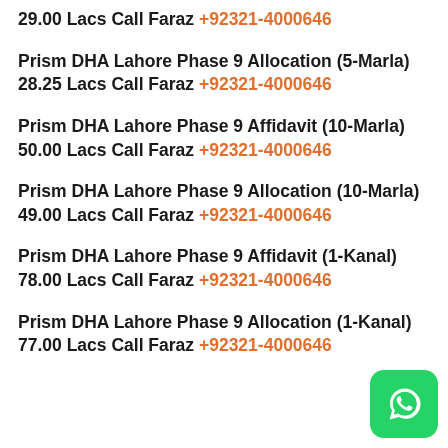29.00 Lacs Call Faraz +92321-4000646
Prism DHA Lahore Phase 9 Allocation (5-Marla) 28.25 Lacs Call Faraz +92321-4000646
Prism DHA Lahore Phase 9 Affidavit (10-Marla) 50.00 Lacs Call Faraz +92321-4000646
Prism DHA Lahore Phase 9 Allocation (10-Marla) 49.00 Lacs Call Faraz +92321-4000646
Prism DHA Lahore Phase 9 Affidavit (1-Kanal) 78.00 Lacs Call Faraz +92321-4000646
Prism DHA Lahore Phase 9 Allocation (1-Kanal) 77.00 Lacs Call Faraz +92321-4000646
[Figure (logo): WhatsApp green rounded square button icon]